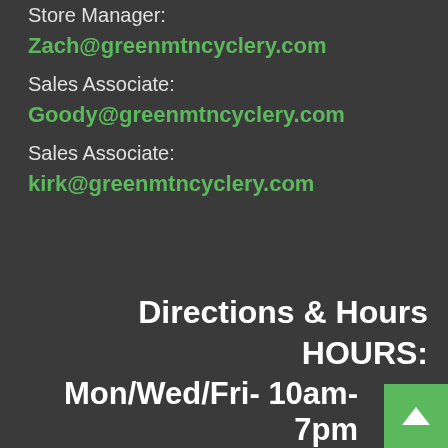Sales Manager:
Zach@greenmtncyclery.com
Sales Associate:
Goody@greenmtncyclery.com
Sales Associate:
kirk@greenmtncyclery.com
Directions & Hours
HOURS:
Mon/Wed/Fri- 10am- 7pm